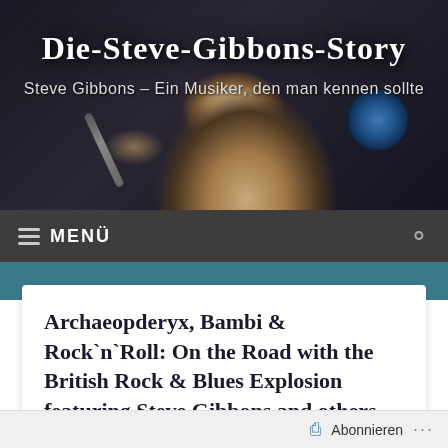[Figure (photo): Header photo of Steve Gibbons performing live with a microphone, dark concert background with blue stage light]
Die-Steve-Gibbons-Story
Steve Gibbons – Ein Musiker, den man kennen sollte
MENÜ
Archaeopderyx, Bambi & Rock`n`Roll: On the Road with the British Rock & Blues Explosion featuring Steve Gibbons and others (2019)
Abonnieren